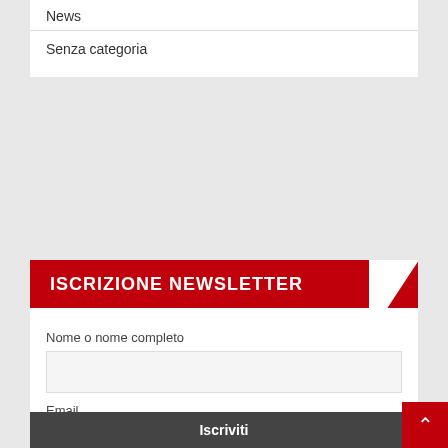News
Senza categoria
ISCRIZIONE NEWSLETTER
Nome o nome completo
Email
Procedendo accetti la privacy policy
Iscriviti